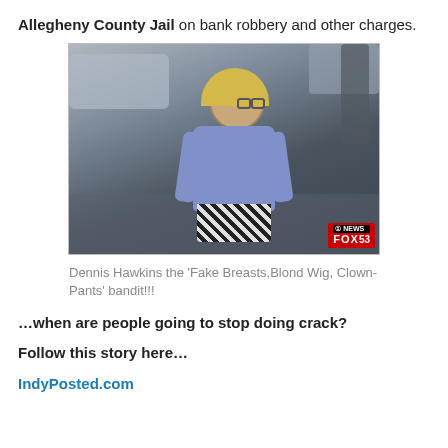Allegheny County Jail on bank robbery and other charges.
[Figure (photo): CCTV security camera footage of Dennis Hawkins dressed in disguise with fake breasts, blond wig, and clown pants. Fox 53 News watermark visible in bottom right corner.]
Dennis Hawkins the 'Fake Breasts,Blond Wig, Clown-Pants' bandit!!!
…when are people going to stop doing crack?
Follow this story here…
IndyPosted.com